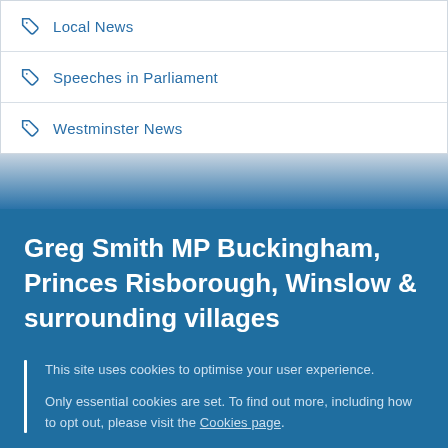Local News
Speeches in Parliament
Westminster News
Greg Smith MP Buckingham, Princes Risborough, Winslow & surrounding villages
This site uses cookies to optimise your user experience.

Only essential cookies are set. To find out more, including how to opt out, please visit the Cookies page.
OK  Hide this message and remember my decision